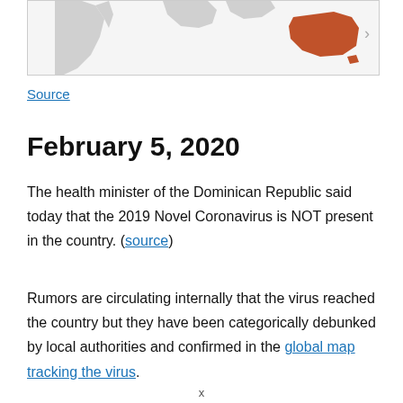[Figure (map): Partial world map showing countries, with Australia highlighted in orange/brown. South America visible on the left in light gray.]
Source
February 5, 2020
The health minister of the Dominican Republic said today that the 2019 Novel Coronavirus is NOT present in the country. (source)
Rumors are circulating internally that the virus reached the country but they have been categorically debunked by local authorities and confirmed in the global map tracking the virus.